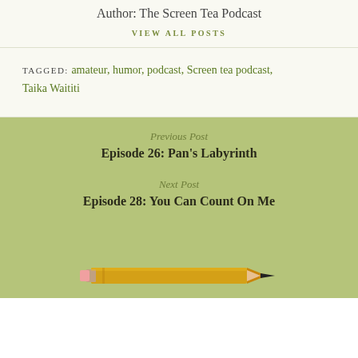Author: The Screen Tea Podcast
VIEW ALL POSTS
TAGGED: amateur, humor, podcast, Screen tea podcast, Taika Waititi
Previous Post
Episode 26: Pan's Labyrinth
Next Post
Episode 28: You Can Count On Me
[Figure (illustration): Pencil illustration at the bottom of the page]